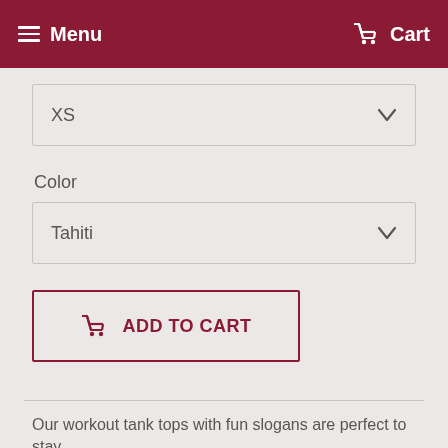Menu   Cart
XS
Color
Tahiti
ADD TO CART
Our workout tank tops with fun slogans are perfect to stay